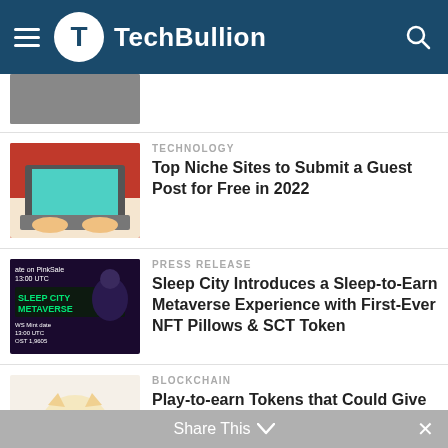TechBullion
[Figure (screenshot): Partial thumbnail of article above (cropped top)]
TECHNOLOGY
Top Niche Sites to Submit a Guest Post for Free in 2022
PRESS RELEASE
Sleep City Introduces a Sleep-to-Earn Metaverse Experience with First-Ever NFT Pillows & SCT Token
BLOCKCHAIN
Play-to-earn Tokens that Could Give Users 50x Return in Q4: The Sandbox, Illuvium, and Big Eyes Coin
BUSINESS NEWS
Share This